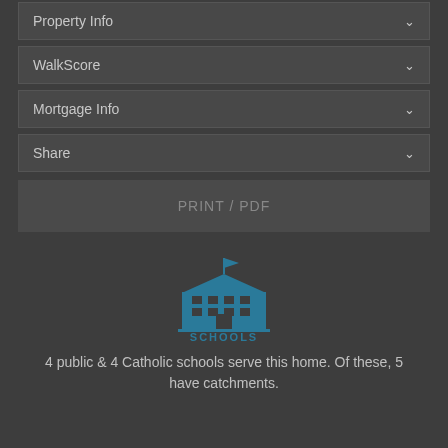Property Info
WalkScore
Mortgage Info
Share
PRINT / PDF
[Figure (illustration): School building icon in teal color with flag on top and the word SCHOOLS below]
4 public & 4 Catholic schools serve this home. Of these, 5 have catchments.